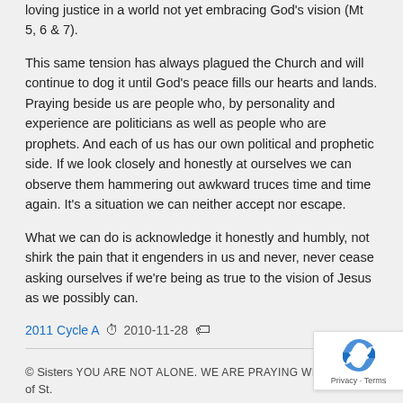loving justice in a world not yet embracing God's vision (Mt 5, 6 & 7).
This same tension has always plagued the Church and will continue to dog it until God's peace fills our hearts and lands. Praying beside us are people who, by personality and experience are politicians as well as people who are prophets. And each of us has our own political and prophetic side. If we look closely and honestly at ourselves we can observe them hammering out awkward truces time and time again. It's a situation we can neither accept nor escape.
What we can do is acknowledge it honestly and humbly, not shirk the pain that it engenders in us and never, never cease asking ourselves if we're being as true to the vision of Jesus as we possibly can.
2011 Cycle A  🕐  2010-11-28  🏷
© Sisters YOU ARE NOT ALONE. WE ARE PRAYING WITH AND FOR YOU of St. Clare; Companions in Prayer